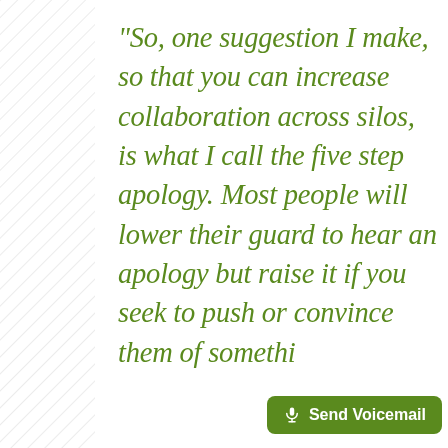[Figure (illustration): Diagonal hatching/striped pattern in light gray on the left side of the page]
“So, one suggestion I make, so that you can increase collaboration across silos, is what I call the five step apology. Most people will lower their guard to hear an apology but raise it if you seek to push or convince them of somethi...
[Figure (other): Send Voicemail button with microphone icon, green background, white text]